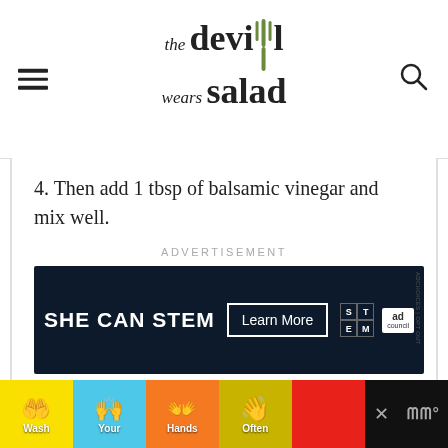the devil wears salad
4. Then add 1 tbsp of balsamic vinegar and mix well.
ADVERTISEMENT
[Figure (other): Advertisement banner: SHE CAN STEM, Learn More button, STEM logo grid, Ad Council logo, on dark navy background]
[Figure (other): Bottom banner advertisement: Wash Your Hands Often — colorful panels with hand-washing icons in yellow, cyan, orange, olive, and red sections. Close button and brand logo on right.]